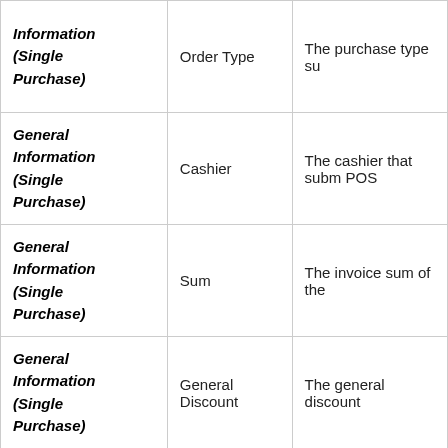| General Information (Single Purchase) | Order Type | The purchase type su... |
| General Information (Single Purchase) | Cashier | The cashier that subm... POS |
| General Information (Single Purchase) | Sum | The invoice sum of the... |
| General Information (Single Purchase) | General Discount | The general discount... |